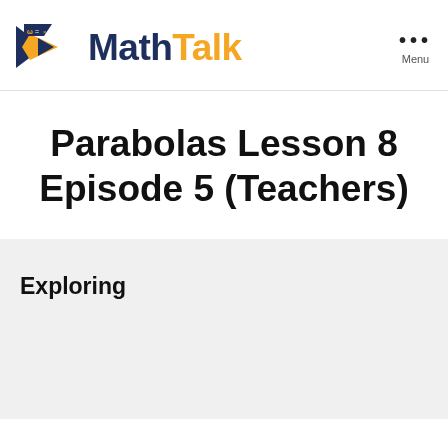[Figure (logo): MathTalk logo: dark navy and yellow geometric arrow/fish shapes on left, bold text 'Math' in dark navy and 'Talk' in orange/yellow]
Parabolas Lesson 8 Episode 5 (Teachers)
Exploring